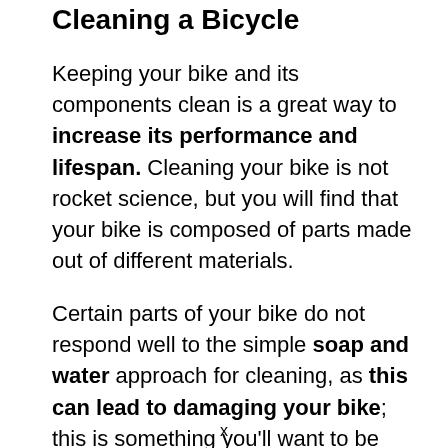Cleaning a Bicycle
Keeping your bike and its components clean is a great way to increase its performance and lifespan. Cleaning your bike is not rocket science, but you will find that your bike is composed of parts made out of different materials.
Certain parts of your bike do not respond well to the simple soap and water approach for cleaning, as this can lead to damaging your bike; this is something you’ll want to be